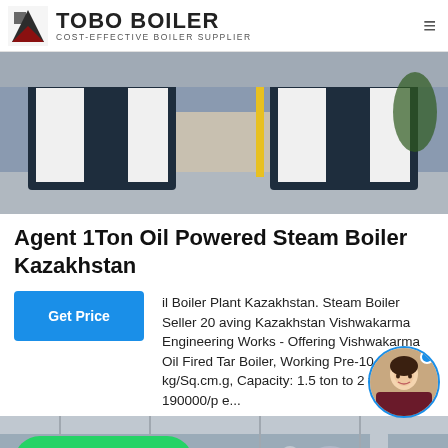TOBO BOILER COST-EFFECTIVE BOILER SUPPLIER
[Figure (photo): Industrial boilers in a facility, two large dark-paneled boiler units side by side on a concrete floor with yellow pipe visible at rear]
Agent 1Ton Oil Powered Steam Boiler Kazakhstan
il Boiler Plant Kazakhstan. Steam Boiler Seller 20 aving Kazakhstan Vishwakarma Engineering Works - Offering Vishwakarma Oil Fired Tar Boiler, Working Pre -10 kg/Sq.cm.g, Capacity: 1.5 ton to 2 ton at Rs 190000/p e...
[Figure (photo): Interior of industrial boiler plant showing pipes, metal ducts and ceiling structure]